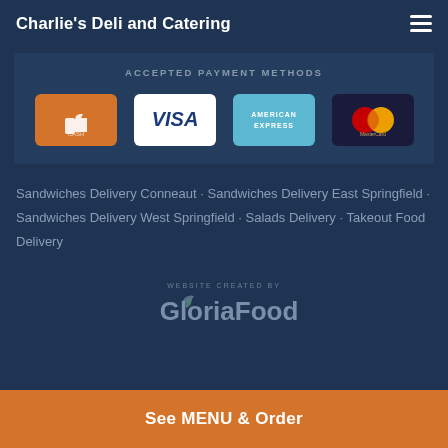Charlie's Deli and Catering
ACCEPTED PAYMENT METHODS
[Figure (infographic): Four accepted payment method icons: Cash/thumbs-up (orange), Visa (white), American Express (blue), MasterCard (dark)]
Sandwiches Delivery Conneaut · Sandwiches Delivery East Springfield · Sandwiches Delivery West Springfield · Salads Delivery · Takeout Food Delivery
[Figure (logo): GloriaFood logo with text 'WEBSITE CREATED BY' above it]
See MENU & Order